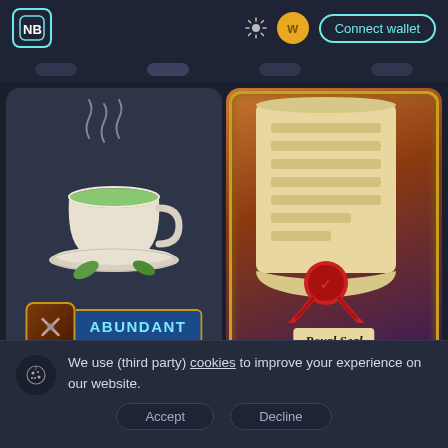NB | Connect wallet
[Figure (screenshot): Left card showing a stylized green tea cup on saucer with steam, with an ABUNDANT badge at the bottom featuring crossed pickaxes icon]
[Figure (screenshot): Right card showing a royal scroll/parchment document with red wax seal and red ribbons, gold ornate frame border, labeled Royal Seal]
We use (third party) cookies to improve your experience on our website.
Accept
Decline